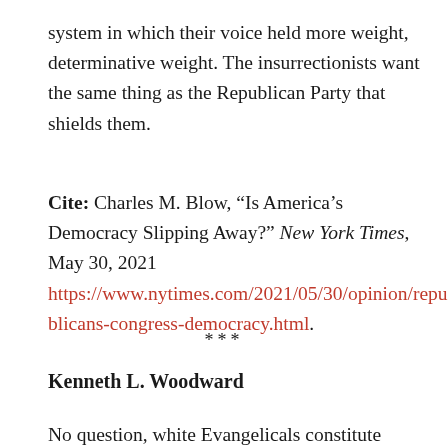system in which their voice held more weight, determinative weight. The insurrectionists want the same thing as the Republican Party that shields them.
Cite: Charles M. Blow, “Is America’s Democracy Slipping Away?” New York Times, May 30, 2021 https://www.nytimes.com/2021/05/30/opinion/republicans-congress-democracy.html.
***
Kenneth L. Woodward
No question, white Evangelicals constitute